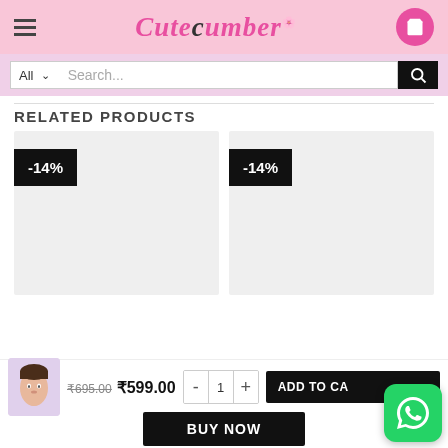Cutecumber — navigation header with logo, hamburger menu, and cart button
Search... All
RELATED PRODUCTS
[Figure (other): Product card 1 with -14% discount badge, light grey background placeholder image]
[Figure (other): Product card 2 with -14% discount badge, light grey background placeholder image]
₹695.00 ₹599.00  - 1 +  ADD TO CA...
BUY NOW